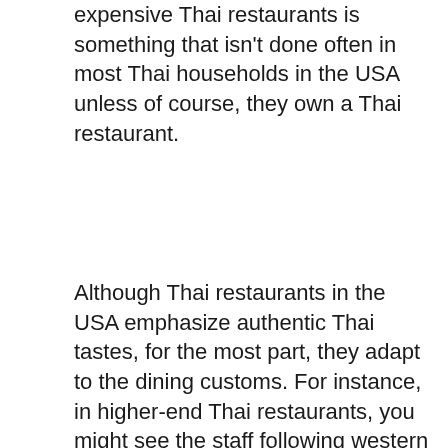expensive Thai restaurants is something that isn't done often in most Thai households in the USA unless of course, they own a Thai restaurant.
Although Thai restaurants in the USA emphasize authentic Thai tastes, for the most part, they adapt to the dining customs. For instance, in higher-end Thai restaurants, you might see the staff following western style in that they serve the meal in courses.
Dinner starts with an appetizer like a soup or salad. Dinner is followed by the main dishes which might be brought out at different times. In Thailand, the usual way is that all food is brought out at once. The entire table is served with food and every guest...